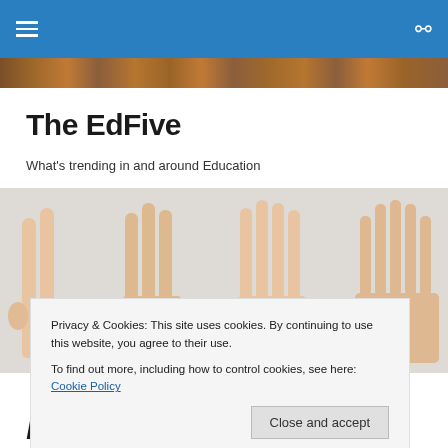The EdFive — navigation header
The EdFive
What's trending in and around Education
[Figure (photo): Multiple hands showing counting fingers (2, 3, 4, 5 fingers) against a light background, illustrating the concept of 'five']
Privacy & Cookies: This site uses cookies. By continuing to use this website, you agree to their use.
To find out more, including how to control cookies, see here: Cookie Policy
March 8th